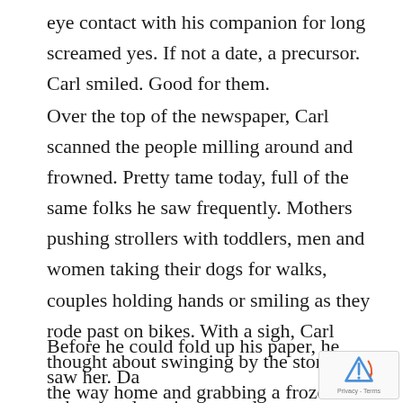eye contact with his companion for long screamed yes. If not a date, a precursor. Carl smiled. Good for them.
Over the top of the newspaper, Carl scanned the people milling around and frowned. Pretty tame today, full of the same folks he saw frequently. Mothers pushing strollers with toddlers, men and women taking their dogs for walks, couples holding hands or smiling as they rode past on bikes. With a sigh, Carl thought about swinging by the store on the way home and grabbing a frozen pizza and a pint of ice cream. Hopefully tomorrow would be better.
Before he could fold up his paper, he saw her. Da... auburn curls, aviator sunglasses, wearing a trench...